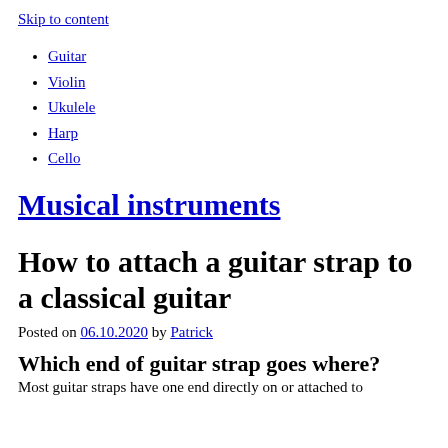Skip to content
Guitar
Violin
Ukulele
Harp
Cello
Musical instruments
How to attach a guitar strap to a classical guitar
Posted on 06.10.2020 by Patrick
Which end of guitar strap goes where?
Most guitar straps have one end directly on or attached to